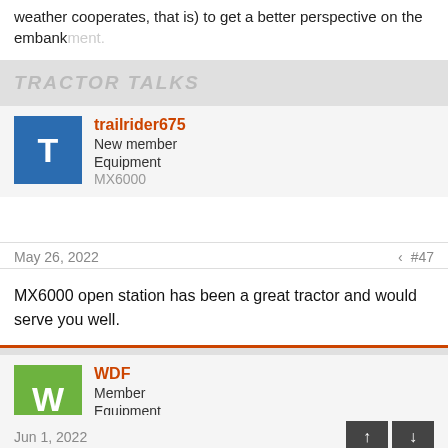weather cooperates, that is) to get a better perspective on the embankment.
TRACTOR TALKS
trailrider675
New member
Equipment
MX6000
May 26, 2022  #47
MX6000 open station has been a great tractor and would serve you well.
WDF
Member
Equipment
Kubota L2501 HST/FEL
Jun 1, 2022